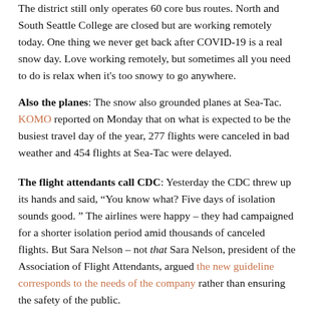The district still only operates 60 core bus routes. North and South Seattle College are closed but are working remotely today. One thing we never get back after COVID-19 is a real snow day. Love working remotely, but sometimes all you need to do is relax when it's too snowy to go anywhere.
Also the planes: The snow also grounded planes at Sea-Tac. KOMO reported on Monday that on what is expected to be the busiest travel day of the year, 277 flights were canceled in bad weather and 454 flights at Sea-Tac were delayed.
The flight attendants call CDC: Yesterday the CDC threw up its hands and said, “You know what? Five days of isolation sounds good. ” The airlines were happy – they had campaigned for a shorter isolation period amid thousands of canceled flights. But Sara Nelson – not that Sara Nelson, president of the Association of Flight Attendants, argued the new guideline corresponds to the needs of the company rather than ensuring the safety of the public.